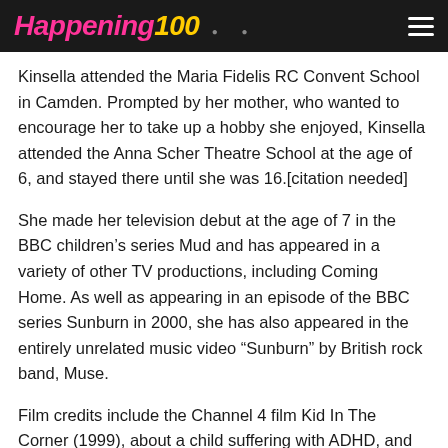Happening100
Kinsella attended the Maria Fidelis RC Convent School in Camden. Prompted by her mother, who wanted to encourage her to take up a hobby she enjoyed, Kinsella attended the Anna Scher Theatre School at the age of 6, and stayed there until she was 16.[citation needed]
She made her television debut at the age of 7 in the BBC children's series Mud and has appeared in a variety of other TV productions, including Coming Home. As well as appearing in an episode of the BBC series Sunburn in 2000, she has also appeared in the entirely unrelated music video “Sunburn” by British rock band, Muse.
Film credits include the Channel 4 film Kid In The Corner (1999), about a child suffering with ADHD, and the controversial ITV film No Child of Mine (1997). In the latter she played Kerry, a young girl who continuously suffered sexual abuse from her parents, friends and carers, and was forced into prostitution by her father. Kerry finally